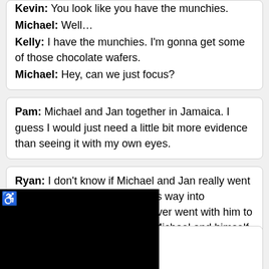Kevin: You look like you have the munchies. Michael: Well… Kelly: I have the munchies. I'm gonna get some of those chocolate wafers. Michael: Hey, can we just focus?
Pam: Michael and Jan together in Jamaica. I guess I would just need a little bit more evidence than seeing it with my own eyes.
Ryan: I don't know if Michael and Jan really went to Jamaica, because Michael's way into Photoshop. For example, I never went with him to Egypt. [holds up picture with Michael and himself in Egypt]
...ave the list of exchanges? ...you that information when